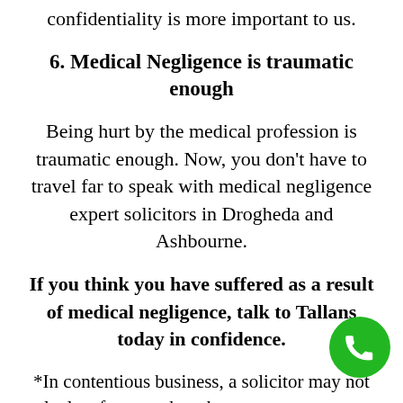confidentiality is more important to us.
6. Medical Negligence is traumatic enough
Being hurt by the medical profession is traumatic enough. Now, you don't have to travel far to speak with medical negligence expert solicitors in Drogheda and Ashbourne.
If you think you have suffered as a result of medical negligence, talk to Tallans today in confidence.
*In contentious business, a solicitor may not calculate fees or other charges as a percentage or proportion of any award or settlement.